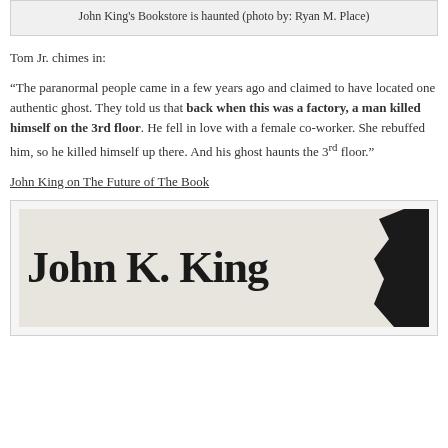John King's Bookstore is haunted (photo by: Ryan M. Place)
Tom Jr. chimes in:
“The paranormal people came in a few years ago and claimed to have located one authentic ghost. They told us that back when this was a factory, a man killed himself on the 3rd floor. He fell in love with a female co-worker. She rebuffed him, so he killed himself up there. And his ghost haunts the 3rd floor.”
John King on The Future of The Book
[Figure (photo): Sign or book cover showing 'John K. King' in large serif text on a light background with a torn dark edge on the right]